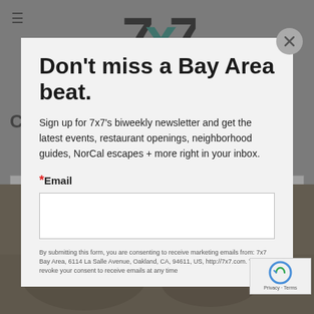[Figure (logo): 7x7 logo in black and teal at top center of background page]
[Figure (screenshot): Modal popup newsletter signup overlay on 7x7 Bay Area website with food photography background]
Don't miss a Bay Area beat.
Sign up for 7x7's biweekly newsletter and get the latest events, restaurant openings, neighborhood guides, NorCal escapes + more right in your inbox.
*Email
By submitting this form, you are consenting to receive marketing emails from: 7x7 Bay Area, 6114 La Salle Avenue, Oakland, CA, 94611, US, http://7x7.com. You can revoke your consent to receive emails at any time